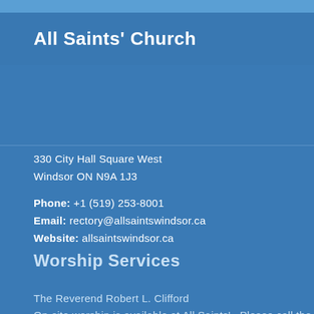All Saints' Church
330 City Hall Square West
Windsor ON N9A 1J3
Phone: +1 (519) 253-8001
Email: rectory@allsaintswindsor.ca
Website: allsaintswindsor.ca
Worship Services
The Reverend Robert L. Clifford
On-site worship is available at All Saints'.  Please call the